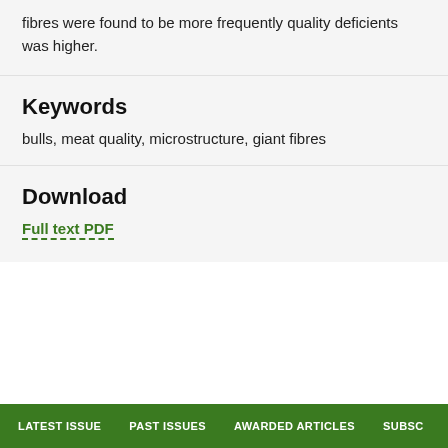fibres were found to be more frequently quality deficients was higher.
Keywords
bulls, meat quality, microstructure, giant fibres
Download
Full text PDF
LATEST ISSUE   PAST ISSUES   AWARDED ARTICLES   SUBSC